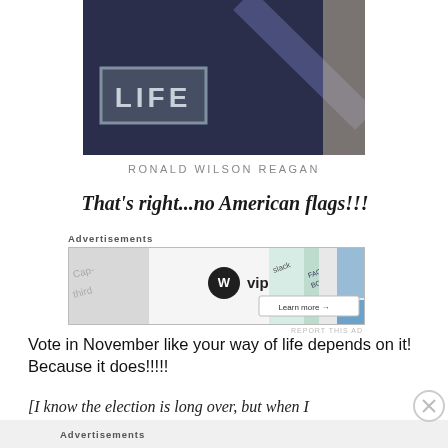[Figure (photo): Partial image of a LIFE magazine cover or photo showing a dark navy background with a LIFE badge/logo in the upper left area and a diagonal stripe visible]
RONALD WILSON REAGAN
That's right...no American flags!!!
[Figure (other): WordPress VIP advertisement banner with colorful social media brand logos and Learn more arrow button]
Vote in November like your way of life depends on it! Because it does!!!!!
[I know the election is long over, but when I
[Figure (other): Second Advertisements section with gray background at bottom of page]